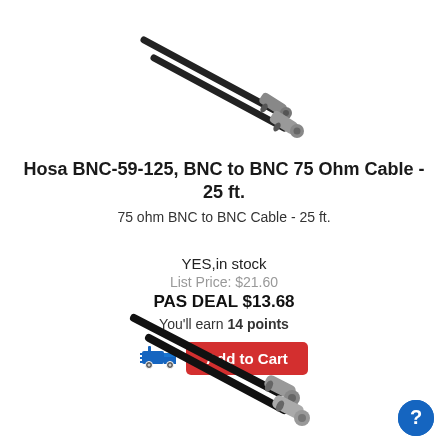[Figure (photo): Two BNC cable connectors with black cable, shown diagonally from top-left to bottom-right, top product image]
Hosa BNC-59-125, BNC to BNC 75 Ohm Cable - 25 ft.
75 ohm BNC to BNC Cable - 25 ft.
YES,in stock
List Price: $21.60
PAS DEAL $13.68
You'll earn 14 points
Add to Cart
[Figure (photo): Two BNC cable connectors with black cable, shown diagonally, bottom product image]
[Figure (other): Blue circular help/info button with question mark icon]